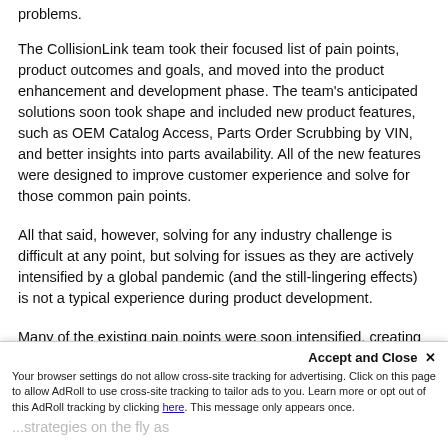problems.
The CollisionLink team took their focused list of pain points, product outcomes and goals, and moved into the product enhancement and development phase. The team's anticipated solutions soon took shape and included new product features, such as OEM Catalog Access, Parts Order Scrubbing by VIN, and better insights into parts availability. All of the new features were designed to improve customer experience and solve for those common pain points.
All that said, however, solving for any industry challenge is difficult at any point, but solving for issues as they are actively intensified by a global pandemic (and the still-lingering effects) is not a typical experience during product development.
Many of the existing pain points were soon intensified, creating greater urgency for collision repair facilities to find tools and solutions to help address common issues that now loom larger than ever over the industry. Wi...
Accept and Close ×
Your browser settings do not allow cross-site tracking for advertising. Click on this page to allow AdRoll to use cross-site tracking to tailor ads to you. Learn more or opt out of this AdRoll tracking by clicking here. This message only appears once.
...strategies on the fly as